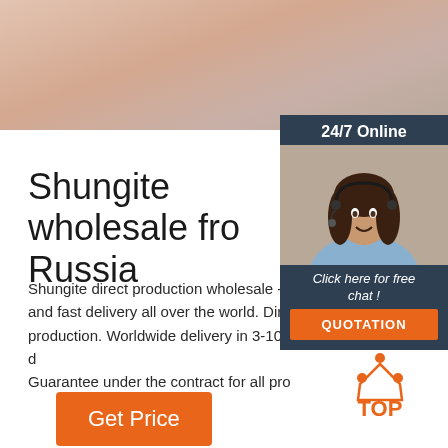[Figure (photo): Hero banner image with warm beige/peach blurred background at top of page]
[Figure (photo): Chat widget with woman wearing headset, dark navy background, 24/7 Online header, Click here for free chat text, and QUOTATION button]
Shungite wholesale from Russia
Shungite direct production wholesale - and fast delivery all over the world. Dire production. Worldwide delivery in 3-10 d Guarantee under the contract for all pro
[Figure (other): Orange Get Price button]
[Figure (logo): Orange TOP logo with dots forming triangle above text TOP]